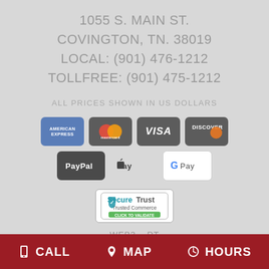1055 S. MAIN ST.
COVINGTON, TN. 38019
LOCAL: (901) 476-1212
TOLLFREE: (901) 475-1212
ALL PRICES SHOWN IN US DOLLARS
[Figure (logo): Payment method icons: American Express, Mastercard, Visa, Discover, PayPal, Apple Pay, Google Pay]
[Figure (logo): SecureTrust Trusted Commerce badge - Click to Validate]
WEB3 – RT
CALL   MAP   HOURS